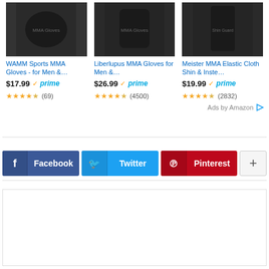[Figure (screenshot): Amazon ad: WAMM Sports MMA Gloves - for Men &... $17.99 Prime, 4 stars (69 reviews)]
[Figure (screenshot): Amazon ad: Liberlupus MMA Gloves for Men &... $26.99 Prime, 4 stars (4500 reviews)]
[Figure (screenshot): Amazon ad: Meister MMA Elastic Cloth Shin & Inste... $19.99 Prime, 4 stars (2832 reviews)]
Ads by Amazon
[Figure (infographic): Social share buttons: Facebook, Twitter, Pinterest, plus button]